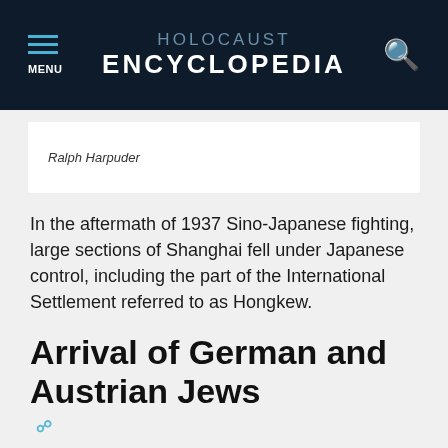HOLOCAUST ENCYCLOPEDIA
Ralph Harpuder
In the aftermath of 1937 Sino-Japanese fighting, large sections of Shanghai fell under Japanese control, including the part of the International Settlement referred to as Hongkew.
Arrival of German and Austrian Jews
An estimat... German and Austrian